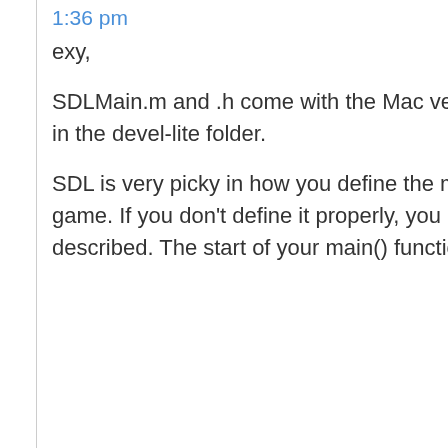1:36 pm
exy,
SDLMain.m and .h come with the Mac version of SDL. They are in the devel-lite folder.
SDL is very picky in how you define the main() function in your game. If you don't define it properly, you get the link error you described. The start of your main() function should look